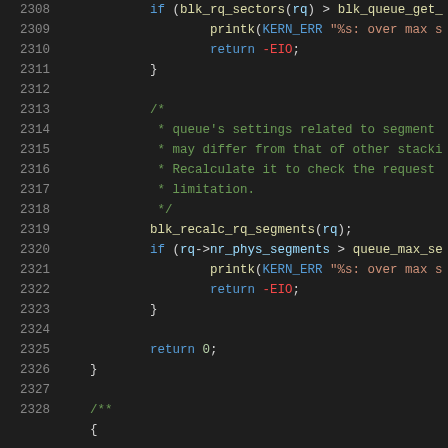Source code listing, lines 2308-2328, showing C kernel code with syntax highlighting